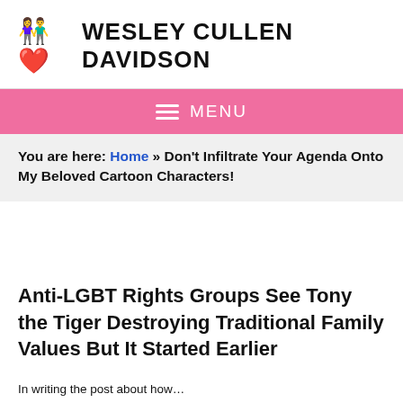WESLEY CULLEN DAVIDSON
MENU
You are here: Home » Don't Infiltrate Your Agenda Onto My Beloved Cartoon Characters!
Anti-LGBT Rights Groups See Tony the Tiger Destroying Traditional Family Values But It Started Earlier
In writing the post about how…